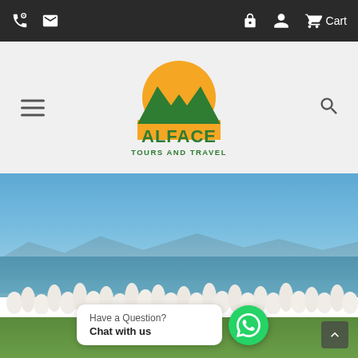Top navigation bar with phone, email icons on left; lock, account, cart icons on right
[Figure (logo): Alface Tours and Travel logo: mountain silhouette with orange sun, green text reading ALFACE TOURS AND TRAVEL]
[Figure (photo): Large flock of white pelicans standing in shallow water with blue lake and mountains in background, green grass in foreground]
Have a Question?
Chat with us